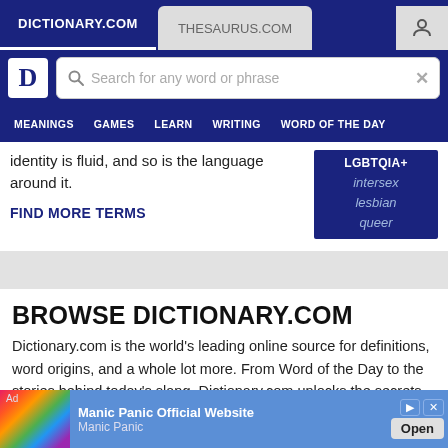DICTIONARY.COM | THESAURUS.COM
[Figure (screenshot): Dictionary.com logo and search bar navigation]
MEANINGS  GAMES  LEARN  WRITING  WORD OF THE DAY
Identity is fluid, and so is the language around it.
FIND MORE TERMS
[Figure (infographic): LGBTQIA+ terms box showing intersex, lesbian, queer]
BROWSE DICTIONARY.COM
Dictionary.com is the world's leading online source for definitions, word origins, and a whole lot more. From Word of the Day to the stories behind today's slang, Dictionary.com unlocks the secrets of the English language for millions of people.
[Figure (screenshot): Ad: Manic Panic Official Website - Open button]